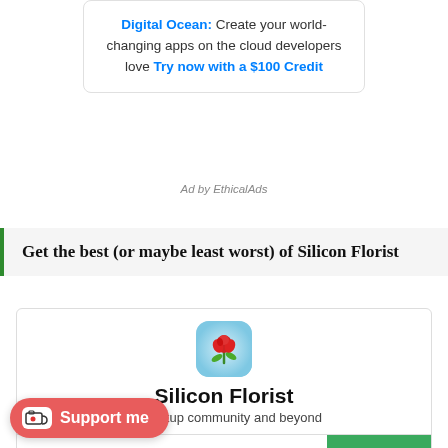[Figure (infographic): Digital Ocean advertisement box with text: 'Digital Ocean: Create your world-changing apps on the cloud developers love Try now with a $100 Credit']
Ad by EthicalAds
Get the best (or maybe least worst) of Silicon Florist
[Figure (infographic): Newsletter signup widget for Silicon Florist with rose logo icon, brand name 'Silicon Florist', subtitle text about startup community and beyond, email input field, and Subscribe button]
[Figure (infographic): Ko-fi Support me button (red rounded pill shape) with coffee cup icon]